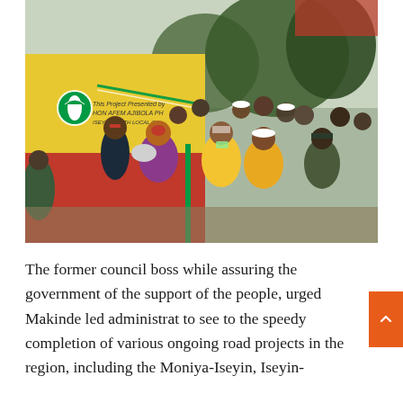[Figure (photo): A group of people gathered at a project commissioning event. A woman in a purple floral dress and another in yellow traditional attire are cutting a ribbon on a yellow and red wall with a PDP party logo and project inscription. Other attendees including police officers in camouflage and men in casual attire look on.]
The former council boss while assuring the government of the support of the people, urged Makinde led administration to see to the speedy completion of various ongoing road projects in the region, including the Moniya-Iseyin, Iseyin-